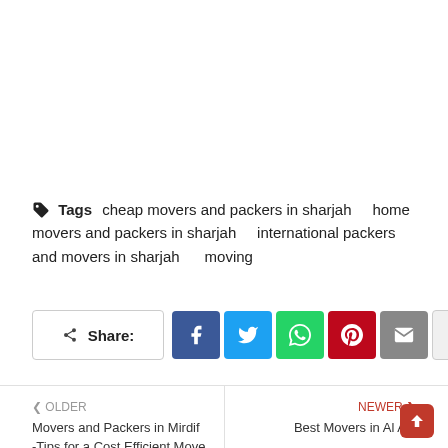Tags   cheap movers and packers in sharjah   home movers and packers in sharjah   international packers and movers in sharjah   moving
Share: [Facebook] [Twitter] [WhatsApp] [Pinterest] [Email] [+]
< OLDER
Movers and Packers in Mirdif -Tips for a Cost Efficient Move
NEWER >
Best Movers in Al Ain